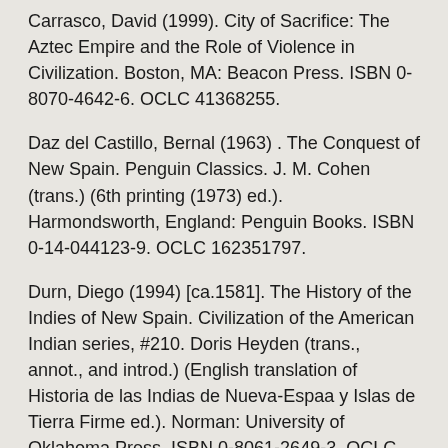Carrasco, David (1999). City of Sacrifice: The Aztec Empire and the Role of Violence in Civilization. Boston, MA: Beacon Press. ISBN 0-8070-4642-6. OCLC 41368255.
Daz del Castillo, Bernal (1963) . The Conquest of New Spain. Penguin Classics. J. M. Cohen (trans.) (6th printing (1973) ed.). Harmondsworth, England: Penguin Books. ISBN 0-14-044123-9. OCLC 162351797.
Durn, Diego (1994) [ca.1581]. The History of the Indies of New Spain. Civilization of the American Indian series, #210. Doris Heyden (trans., annot., and introd.) (English translation of Historia de las Indias de Nueva-Espaa y Islas de Tierra Firme ed.). Norman: University of Oklahoma Press. ISBN 0-8061-2649-3. OCLC 29565779.